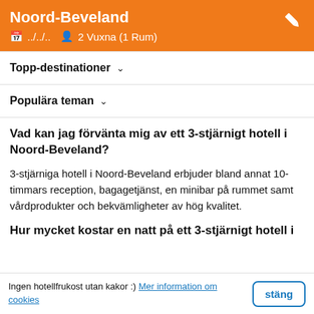Noord-Beveland
📅 ../../.. 👤 2 Vuxna (1 Rum)
Topp-destinationer ∨
Populära teman ∨
Vad kan jag förvänta mig av ett 3-stjärnigt hotell i Noord-Beveland?
3-stjärniga hotell i Noord-Beveland erbjuder bland annat 10-timmars reception, bagagetjänst, en minibar på rummet samt vårdprodukter och bekvämligheter av hög kvalitet.
Hur mycket kostar en natt på ett 3-stjärnigt hotell i
Ingen hotellfrukost utan kakor :) Mer information om cookies